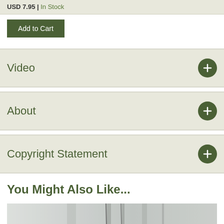USD 7.95 | In Stock
Add to Cart
Video
About
Copyright Statement
You Might Also Like...
[Figure (photo): Partial product image, blurred background with thin vertical objects]